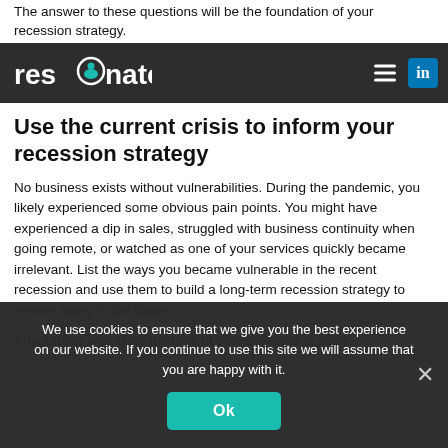The answer to these questions will be the foundation of your recession strategy.
resonate [navigation bar with hamburger menu and LinkedIn icon]
Use the current crisis to inform your recession strategy
No business exists without vulnerabilities. During the pandemic, you likely experienced some obvious pain points. You might have experienced a dip in sales, struggled with business continuity when going remote, or watched as one of your services quickly became irrelevant. List the ways you became vulnerable in the recent recession and use them to build a long-term recession strategy to ensure agility in the future.
Adaptability was likely the tone of your business in 2020.
We use cookies to ensure that we give you the best experience on our website. If you continue to use this site we will assume that you are happy with it.